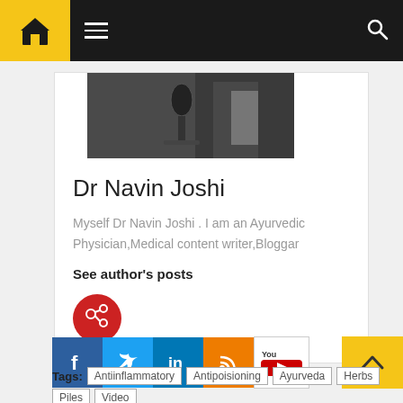[Figure (screenshot): Website navigation bar with yellow home icon box, hamburger menu, and search icon on dark background]
[Figure (photo): Partial photo of Dr Navin Joshi, showing upper body in dark suit near a microphone]
Dr Navin Joshi
Myself Dr Navin Joshi . I am an Ayurvedic Physician,Medical content writer,Bloggar
See author's posts
[Figure (illustration): Red circle social/follow button with heart/link icon]
[Figure (illustration): Social media icons: Facebook, Twitter, LinkedIn, RSS, YouTube]
Tags: Antiinflammatory Antipoisioning Ayurveda Herbs Piles Video